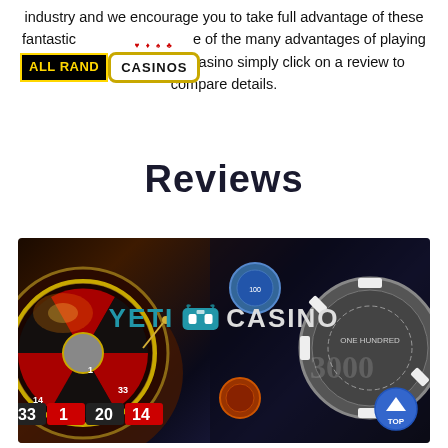industry and we encourage you to take full advantage of these fantastic opportunities. Take advantage of the many advantages of playing online for full details of each casino simply click on a review to compare details.
[Figure (logo): All Rand Casinos logo overlay with black background yellow text and casino sign]
Reviews
[Figure (photo): Casino themed image showing a roulette wheel with numbers 33, 1, 20, 14 visible, casino chips stacked in background, and Yeti Casino logo overlaid in center. A blue TOP button in bottom right corner.]